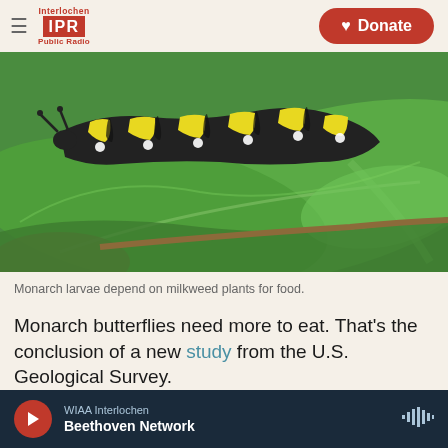Interlochen IPR Public Radio | Donate
[Figure (photo): Close-up photo of a monarch butterfly caterpillar (larva) on a green milkweed leaf. The caterpillar has distinctive black, white, and yellow stripes.]
Monarch larvae depend on milkweed plants for food.
Monarch butterflies need more to eat. That's the conclusion of a new study from the U.S. Geological Survey.
The only thing monarch butterfly caterpillars can
WIAA Interlochen
Beethoven Network